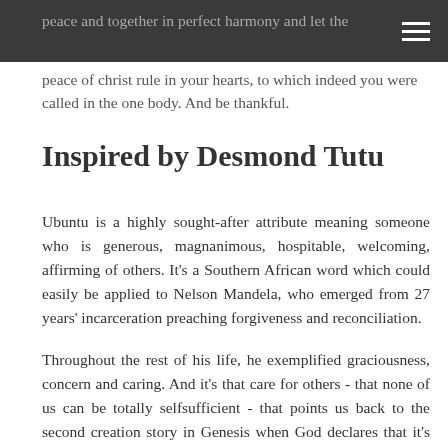peace and together in perfect harmony and let the peace of christ rule in your hearts, to which indeed you were called in the one body. And be thankful.
Inspired by Desmond Tutu
Ubuntu is a highly sought-after attribute meaning someone who is generous, magnanimous, hospitable, welcoming, affirming of others. It's a Southern African word which could easily be applied to Nelson Mandela, who emerged from 27 years' incarceration preaching forgiveness and reconciliation.
Throughout the rest of his life, he exemplified graciousness, concern and caring. And it's that care for others - that none of us can be totally selfsufficient - that points us back to the second creation story in Genesis when God declares that it's not good that man should be alone. We are made for togetherness, created for a deliberate network of interdependence of